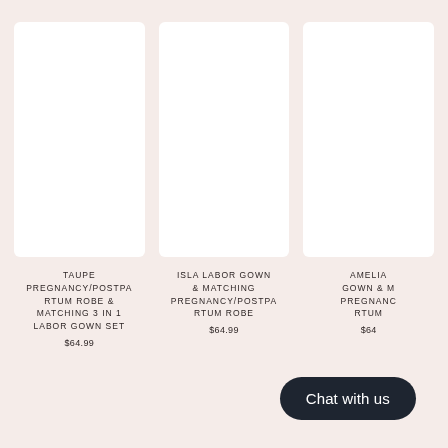[Figure (photo): White blank product image for Taupe Pregnancy/Postpartum Robe]
TAUPE PREGNANCY/POSTPARTUM ROBE & MATCHING 3 IN 1 LABOR GOWN SET
$64.99
[Figure (photo): White blank product image for Isla Labor Gown]
ISLA LABOR GOWN & MATCHING PREGNANCY/POSTPARTUM ROBE
$64.99
[Figure (photo): White blank product image for Amelia Gown]
AMELIA GOWN & M PREGNANCY/POSTPARTUM RTUM
$64
Chat with us